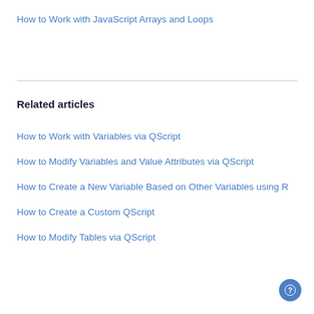How to Work with JavaScript Arrays and Loops
Related articles
How to Work with Variables via QScript
How to Modify Variables and Value Attributes via QScript
How to Create a New Variable Based on Other Variables using R
How to Create a Custom QScript
How to Modify Tables via QScript